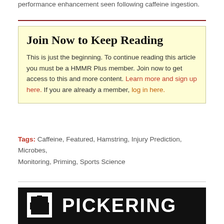performance enhancement seen following caffeine ingestion.
Join Now to Keep Reading
This is just the beginning. To continue reading this article you must be a HMMR Plus member. Join now to get access to this and more content. Learn more and sign up here. If you are already a member, log in here.
Tags: Caffeine, Featured, Hamstring, Injury Prediction, Microbes, Monitoring, Priming, Sports Science
[Figure (logo): Pickering logo — white icon and white PICKERING text on black background]